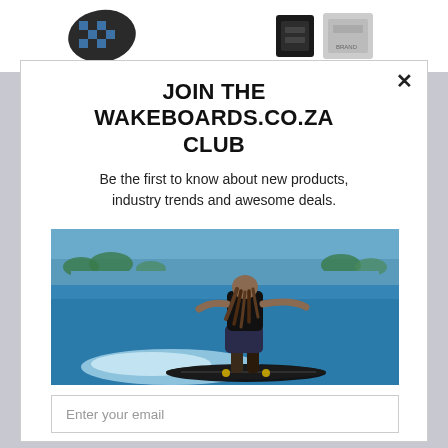[Figure (photo): Top bar showing partial product images: a checkered wakeboard traction pad on the left, and two fin/binding products on the right]
JOIN THE WAKEBOARDS.CO.ZA CLUB
Be the first to know about new products, industry trends and awesome deals.
[Figure (photo): Wakeboarder riding a wakeboard on a lake, viewed from behind, with blue water and distant treeline]
Enter your email